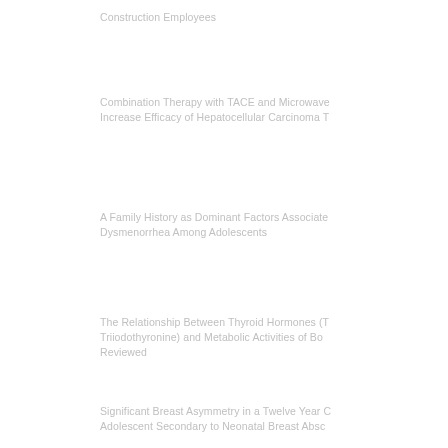Construction Employees
Combination Therapy with TACE and Microwave Increase Efficacy of Hepatocellular Carcinoma T
A Family History as Dominant Factors Associate Dysmenorrhea Among Adolescents
The Relationship Between Thyroid Hormones (T Triiodothyronine) and Metabolic Activities of Bo Reviewed
Significant Breast Asymmetry in a Twelve Year C Adolescent Secondary to Neonatal Breast Absc